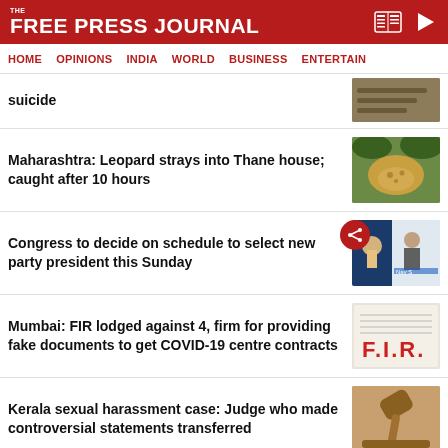THE FREE PRESS JOURNAL
HOME | OPINIONS | INDIA | WORLD | BUSINESS | ENTERTAIN
suicide
Maharashtra: Leopard strays into Thane house; caught after 10 hours
Congress to decide on schedule to select new party president this Sunday
Mumbai: FIR lodged against 4, firm for providing fake documents to get COVID-19 centre contracts
Kerala sexual harassment case: Judge who made controversial statements transferred
ADVERTISEMENT